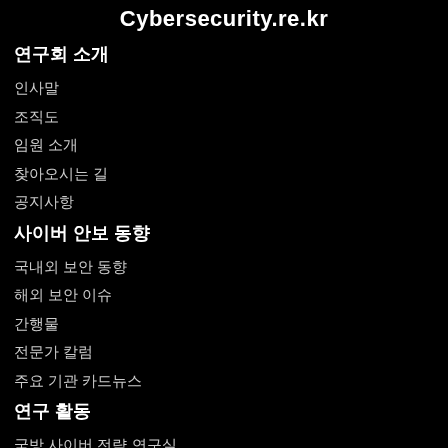Cybersecurity.re.kr
연구회 소개
인사말
조직도
임원 소개
찾아오시는 길
공지사항
사이버 안보 동향
국내외 보안 동향
해외 보안 이슈
간행물
전문가 칼럼
주요 기관 카드뉴스
연구 활동
국방 사이버 전략 연구실
디지털 조라 수사 연구실